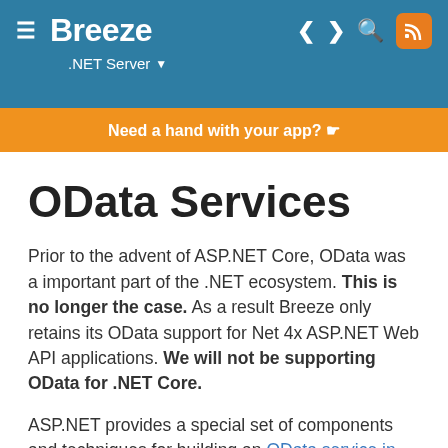Breeze .NET Server
Need a hand with your app? 👉
OData Services
Prior to the advent of ASP.NET Core, OData was a important part of the .NET ecosystem. This is no longer the case. As a result Breeze only retains its OData support for Net 4x ASP.NET Web API applications. We will not be supporting OData for .NET Core.
ASP.NET provides a special set of components and techniques for building an OData service in Web API.
Such a service can be consumed by any client that understands the OData protocol … a set that includes Breeze clients. If you're writing an OData Web API